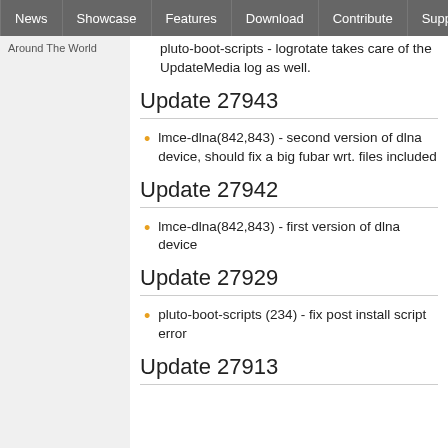News | Showcase | Features | Download | Contribute | Support
pluto-boot-scripts - logrotate takes care of the UpdateMedia log as well.
Update 27943
lmce-dlna(842,843) - second version of dlna device, should fix a big fubar wrt. files included
Update 27942
lmce-dlna(842,843) - first version of dlna device
Update 27929
pluto-boot-scripts (234) - fix post install script error
Update 27913